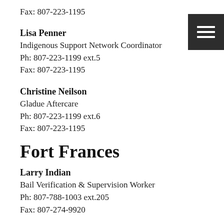Fax: 807-223-1195
Lisa Penner
Indigenous Support Network Coordinator
Ph: 807-223-1199 ext.5
Fax: 807-223-1195
Christine Neilson
Gladue Aftercare
Ph: 807-223-1199 ext.6
Fax: 807-223-1195
Fort Frances
Larry Indian
Bail Verification & Supervision Worker
Ph: 807-788-1003 ext.205
Fax: 807-274-9920